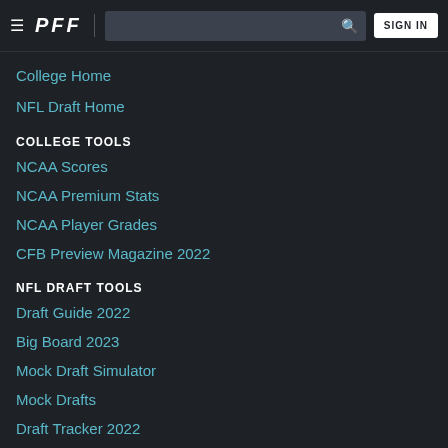PFF — Navigation menu with search and SIGN IN
College Home
NFL Draft Home
COLLEGE TOOLS
NCAA Scores
NCAA Premium Stats
NCAA Player Grades
CFB Preview Magazine 2022
NFL DRAFT TOOLS
Draft Guide 2022
Big Board 2023
Mock Draft Simulator
Mock Drafts
Draft Tracker 2022
SOCIAL
@PFF_College